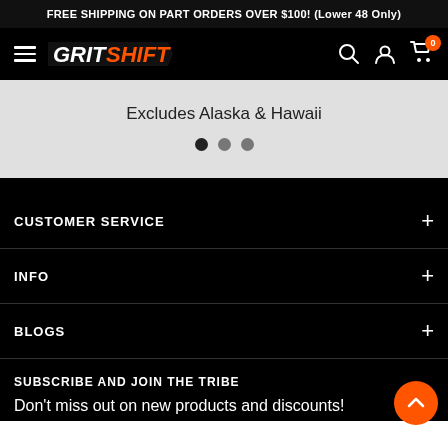FREE SHIPPING ON PART ORDERS OVER $100! (Lower 48 Only)
[Figure (logo): GritShift logo with hamburger menu and navigation icons including search, account, and cart with 0 badge]
Excludes Alaska & Hawaii
CUSTOMER SERVICE
INFO
BLOGS
SUBSCRIBE AND JOIN THE TRIBE
Don't miss out on new products and discounts!